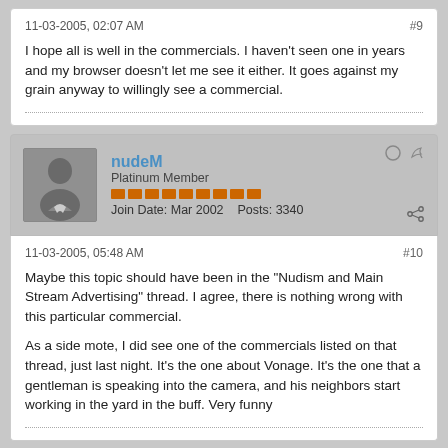11-03-2005, 02:07 AM
#9
I hope all is well in the commercials. I haven't seen one in years    and my browser doesn't let me see it either. It goes against my grain anyway to willingly see a commercial.
nudeM
Platinum Member
Join Date: Mar 2002   Posts: 3340
11-03-2005, 05:48 AM
#10
Maybe this topic should have been in the "Nudism and Main Stream Advertising" thread. I agree, there is nothing wrong with this particular commercial.

As a side mote, I did see one of the commercials listed on that thread, just last night. It's the one about Vonage. It's the one that a gentleman is speaking into the camera, and his neighbors start working in the yard in the buff. Very funny